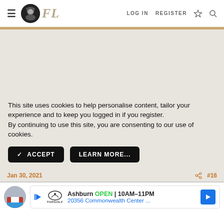≡ FL  LOG IN  REGISTER
This site uses cookies to help personalise content, tailor your experience and to keep you logged in if you register.
By continuing to use this site, you are consenting to our use of cookies.
✓ ACCEPT  LEARN MORE...
Jan 30, 2021  #16
[Figure (screenshot): Advertisement banner for Topgolf Ashburn showing OPEN 10AM-11PM, 20356 Commonwealth Center with navigation arrow]